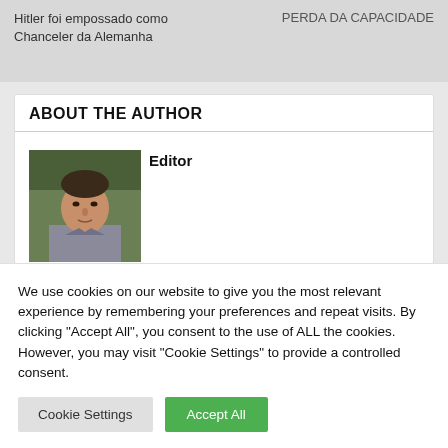Hitler foi empossado como Chanceler da Alemanha
PERDA DA CAPACIDADE
ABOUT THE AUTHOR
[Figure (photo): Author photo: a man in casual clothing outdoors with green foliage behind him]
Editor
We use cookies on our website to give you the most relevant experience by remembering your preferences and repeat visits. By clicking "Accept All", you consent to the use of ALL the cookies. However, you may visit "Cookie Settings" to provide a controlled consent.